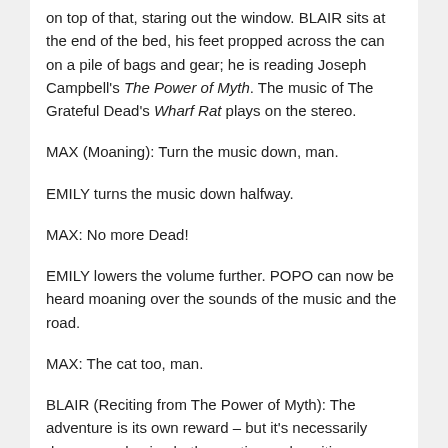on top of that, staring out the window. BLAIR sits at the end of the bed, his feet propped across the can on a pile of bags and gear; he is reading Joseph Campbell's The Power of Myth. The music of The Grateful Dead's Wharf Rat plays on the stereo.
MAX (Moaning): Turn the music down, man.
EMILY turns the music down halfway.
MAX: No more Dead!
EMILY lowers the volume further. POPO can now be heard moaning over the sounds of the music and the road.
MAX: The cat too, man.
BLAIR (Reciting from The Power of Myth): The adventure is its own reward – but it's necessarily dangerous, having both negative and positive possibilities, all of them beyond